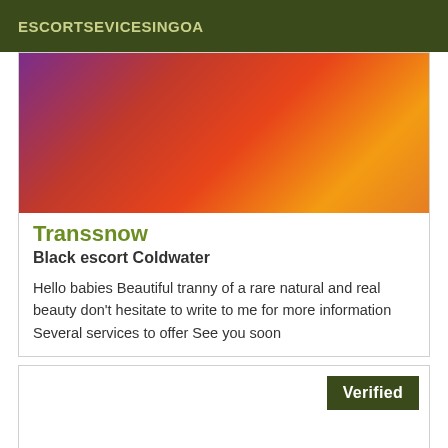ESCORTSEVICESINGOA
[Figure (photo): Close-up photo with warm red, orange, and purple tones]
Transsnow
Black escort Coldwater
Hello babies Beautiful tranny of a rare natural and real beauty don't hesitate to write to me for more information Several services to offer See you soon
Verified